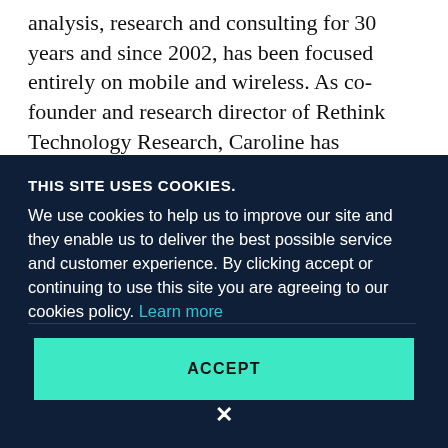analysis, research and consulting for 30 years and since 2002, has been focused entirely on mobile and wireless. As co-founder and research director of Rethink Technology Research, Caroline has developed a significant research base and forecast methodology, based around
THIS SITE USES COOKIES.
We use cookies to help us to improve our site and they enable us to deliver the best possible service and customer experience. By clicking accept or continuing to use this site you are agreeing to our cookies policy. Learn more
ACCEPT
×